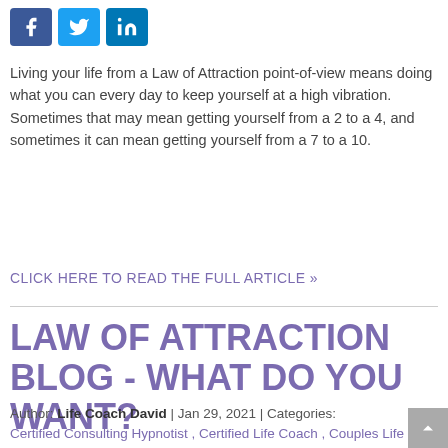[Figure (other): Social media share icons: Facebook (blue), Twitter (light blue), LinkedIn (dark blue)]
Living your life from a Law of Attraction point-of-view means doing what you can every day to keep yourself at a high vibration. Sometimes that may mean getting yourself from a 2 to a 4, and sometimes it can mean getting yourself from a 7 to a 10.
CLICK HERE TO READ THE FULL ARTICLE »
LAW OF ATTRACTION BLOG - WHAT DO YOU WANT?
Author: Life Coach David | Jan 29, 2021 | Categories:
Certified Consulting Hypnotist , Certified Life Coach , Couples Life Coaching , Individual Life Coaching , Law of